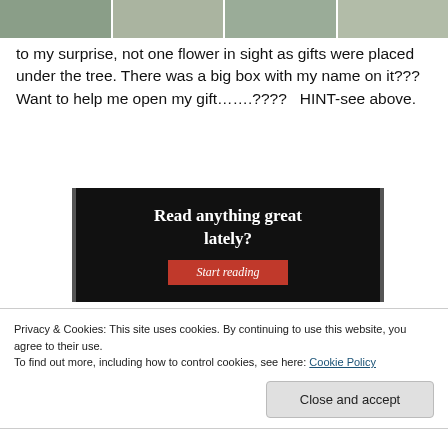[Figure (photo): Cropped photo strip showing gifts or items under a Christmas tree, showing multiple segments of a box/scene]
to my surprise, not one flower in sight as gifts were placed under the tree. There was a big box with my name on it???   Want to help me open my gift…….????   HINT-see above.
[Figure (screenshot): Advertisement banner with black background reading 'Read anything great lately?' with a red 'Start reading' button]
Privacy & Cookies: This site uses cookies. By continuing to use this website, you agree to their use.
To find out more, including how to control cookies, see here: Cookie Policy
Close and accept